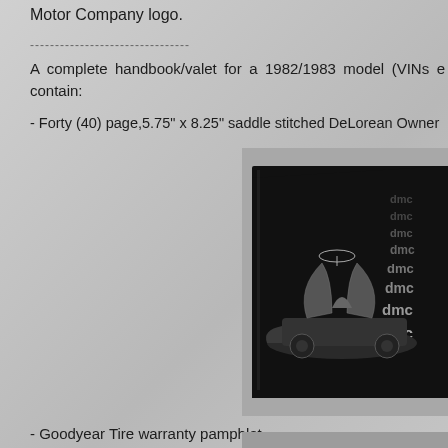Motor Company logo.
A complete handbook/valet for a 1982/1983 model (VINs e contain:
- Forty (40) page,5.75" x 8.25" saddle stitched DeLorean Owner
[Figure (photo): Photo of a DeLorean Owner's Handbook/valet booklet with black cover showing a DeLorean car with gull-wing doors open and DMC logos repeated on the right side, placed on a surface.]
- Goodyear Tire warranty pamphlet
[Figure (photo): Photo of a booklet labeled HIGHWAY TIRE ADJUSTMENT POLICY on a textured surface.]